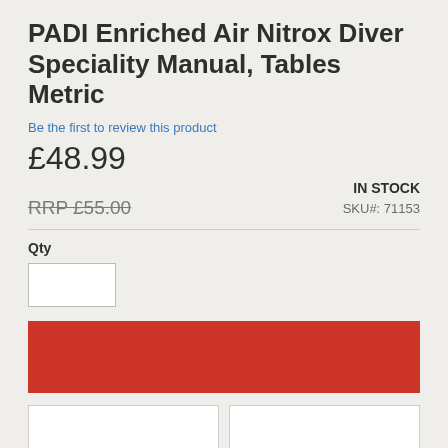PADI Enriched Air Nitrox Diver Speciality Manual, Tables Metric
Be the first to review this product
£48.99
RRP £55.00
IN STOCK
SKU#:  71153
Qty
[Figure (other): Quantity input box (empty)]
[Figure (other): Add to Cart red button (no text visible)]
[Figure (other): Two side-by-side white action buttons (no text visible)]
Details